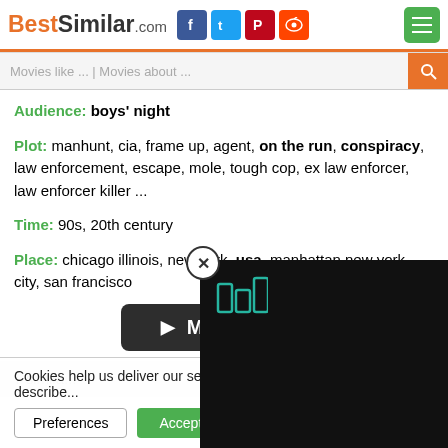BestSimilar.com
Movies like ... | Movies about ...
Audience: boys' night
Plot: manhunt, cia, frame up, agent, on the run, conspiracy, law enforcement, escape, mole, tough cop, ex law enforcer, law enforcer killer ...
Time: 90s, 20th century
Place: chicago illinois, new york, usa, manhattan new york city, san francisco
[Figure (other): MOVIE button - dark rounded rectangle with play arrows]
↓ similar
Cookies help us deliver our services. By us... you agree to our use of cookies as describe...
Preferences | Accept